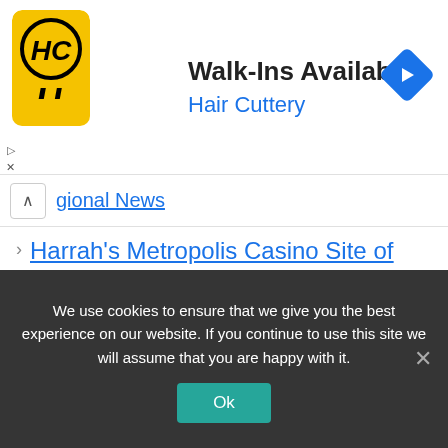[Figure (screenshot): Hair Cuttery advertisement banner with yellow HC logo, 'Walk-Ins Available' headline, 'Hair Cuttery' subtitle in blue, and a blue diamond navigation arrow on the right]
gional News
Harrah's Metropolis Casino Site of Child Left in Car
Leave a Comment
We use cookies to ensure that we give you the best experience on our website. If you continue to use this site we will assume that you are happy with it.